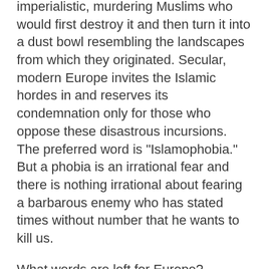imperialistic, murdering Muslims who would first destroy it and then turn it into a dust bowl resembling the landscapes from which they originated. Secular, modern Europe invites the Islamic hordes in and reserves its condemnation only for those who oppose these disastrous incursions. The preferred word is “Islamophobia.” But a phobia is an irrational fear and there is nothing irrational about fearing a barbarous enemy who has stated times without number that he wants to kill us.
What words are left for Europe? Requiem aeternam dona eis Domine et lux perpetuam luceat eis…..Dies irae, dies illa.
Good night sweetheart
These fragments have I shored against